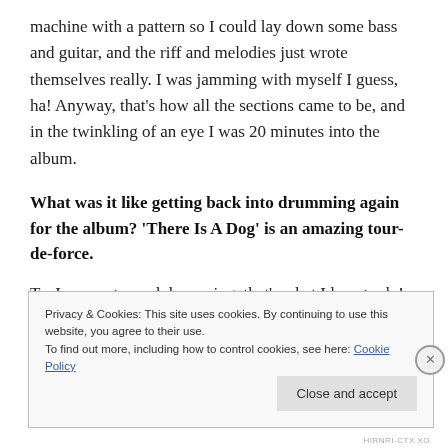machine with a pattern so I could lay down some bass and guitar, and the riff and melodies just wrote themselves really. I was jamming with myself I guess, ha! Anyway, that's how all the sections came to be, and in the twinkling of an eye I was 20 minutes into the album.
What was it like getting back into drumming again for the album? 'There Is A Dog' is an amazing tour-de-force.
Ta. I never stopped drumming, that's what I love to do!
Privacy & Cookies: This site uses cookies. By continuing to use this website, you agree to their use.
To find out more, including how to control cookies, see here: Cookie Policy
HIRNRI-CTX.XO